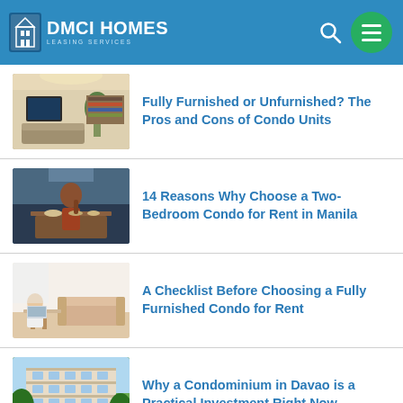DMCI HOMES LEASING SERVICES
Fully Furnished or Unfurnished? The Pros and Cons of Condo Units
14 Reasons Why Choose a Two-Bedroom Condo for Rent in Manila
A Checklist Before Choosing a Fully Furnished Condo for Rent
Why a Condominium in Davao is a Practical Investment Right Now